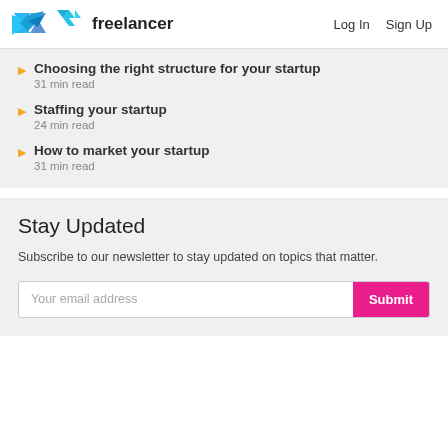freelancer  Log In  Sign Up
Choosing the right structure for your startup
31 min read
Staffing your startup
24 min read
How to market your startup
31 min read
Stay Updated
Subscribe to our newsletter to stay updated on topics that matter.
Your email address  Submit